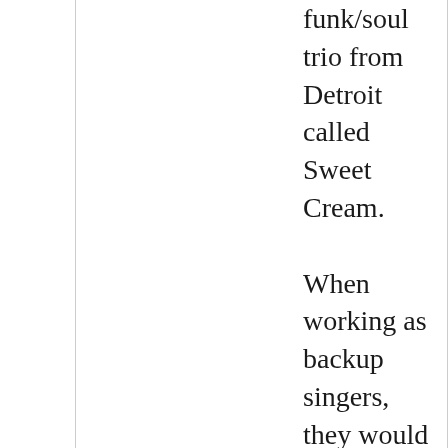funk/soul trio from Detroit called Sweet Cream. When working as backup singers, they would be f